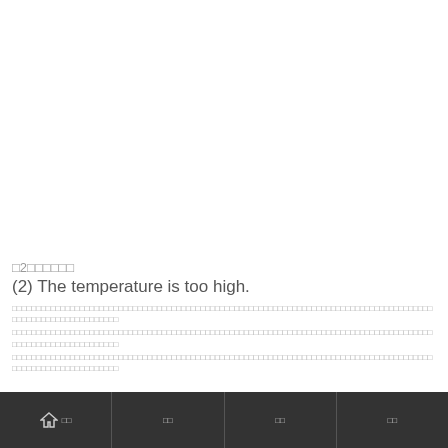□2□□□□□□
(2) The temperature is too high.
□□□□□□□□□□□□□□□□□□□□□□□□□□□□□□□□□□□□□□□□□□□□□□□□□□□□□□□□□□□□□□□□□□□□□□□□□□□□□□□□□□□□□□□□□□□□□□□□□□□□□□□□□□□□□□□□□□□□□□□□□□□□□□□□□□□□□□□□□□□□□□□□□□□□□□□□□□□□□□□□□□□□□□□□□□□□□□□□□□□□□□□□□□□□□□□□□□□□□□□□□□□□□□□□□□□□□□□□□□□□□
홈 | 목차 | 검색 | 설정